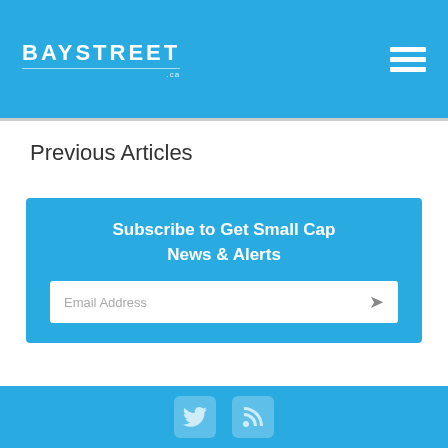BAYSTREET .ca
Previous Articles
Subscribe to Get Small Cap News & Alerts
Email Address